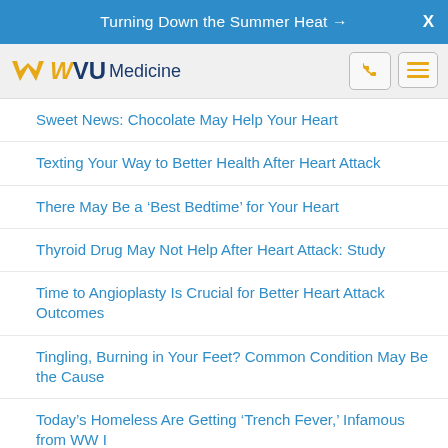Turning Down the Summer Heat →  X
[Figure (logo): WVU Medicine logo with phone and menu buttons]
Sweet News: Chocolate May Help Your Heart
Texting Your Way to Better Health After Heart Attack
There May Be a 'Best Bedtime' for Your Heart
Thyroid Drug May Not Help After Heart Attack: Study
Time to Angioplasty Is Crucial for Better Heart Attack Outcomes
Tingling, Burning in Your Feet? Common Condition May Be the Cause
Today's Homeless Are Getting 'Trench Fever,' Infamous from WW I
Too Many Older Americans Are Taking Daily Aspirin
Too Much Restaurant Fare Could Shorten Your Life
Too Often, Fatal Heart Attack or Stroke Is First Sign of Heart Trouble in Smokers